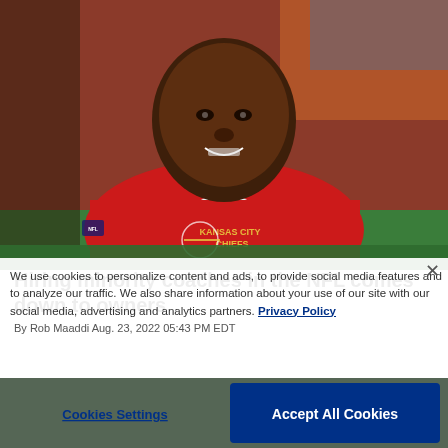[Figure (photo): Man wearing a red Kansas City Chiefs hoodie on a football field sideline, smiling, bald head, crowd in background with orange seats]
Hiring minority coaches in the NFL comes down to owners
By Rob Maaddi Aug. 23, 2022 05:43 PM EDT
We use cookies to personalize content and ads, to provide social media features and to analyze our traffic. We also share information about your use of our site with our social media, advertising and analytics partners. Privacy Policy
Cookies Settings
Accept All Cookies
[Figure (photo): Partial second photo of football field scene, cropped at bottom of page]